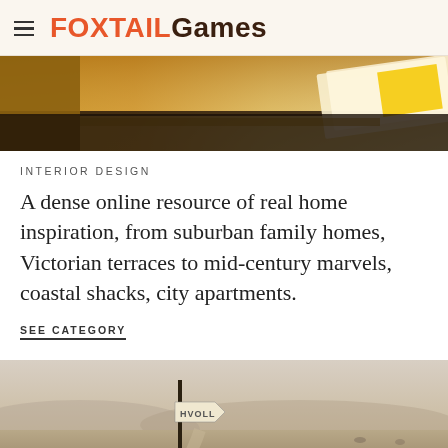FoxtailGames
[Figure (photo): Close-up photo of a person in an orange/mustard jacket handling papers or a laptop on a dark surface]
INTERIOR DESIGN
A dense online resource of real home inspiration, from suburban family homes, Victorian terraces to mid-century marvels, coastal shacks, city apartments.
SEE CATEGORY
[Figure (photo): Landscape photo of a misty moorland scene with a road sign reading 'HVOLL', a signpost, sheep grazing, and a bleak overcast sky]